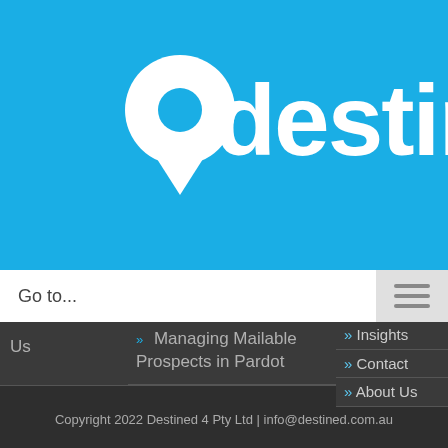[Figure (logo): Destined logo — white letter 'd' with a map-pin icon to the left, on a bright blue background]
Go to...
Us
Managing Mailable Prospects in Pardot
Marketing Automation
Insights
Contact
About Us
Copyright 2022 Destined 4 Pty Ltd | info@destined.com.au